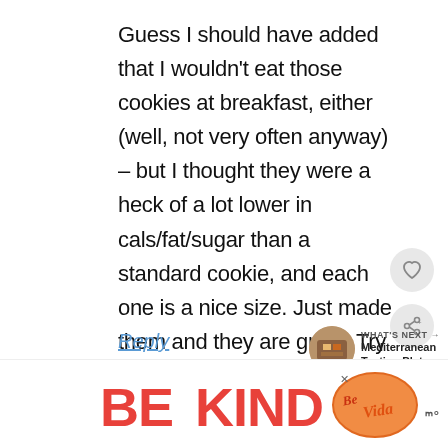Guess I should have added that I wouldn't eat those cookies at breakfast, either (well, not very often anyway) – but I thought they were a heck of a lot lower in cals/fat/sugar than a standard cookie, and each one is a nice size. Just made them and they are great! Try them if you want something substantial and sweet yet better for you than the average cookie.
Reply
WHAT'S NEXT → Mediterranean Tasting Plate
[Figure (infographic): BE KIND advertisement banner with decorative script logo and m° branding]